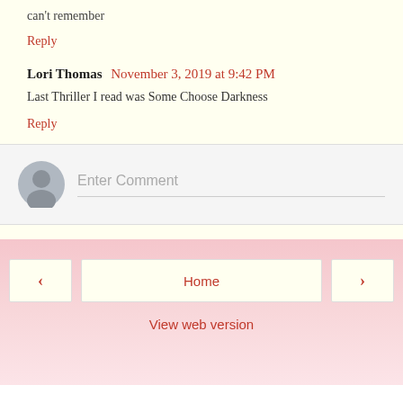can't remember
Reply
Lori Thomas  November 3, 2019 at 9:42 PM
Last Thriller I read was Some Choose Darkness
Reply
[Figure (other): Comment input box with user avatar placeholder and 'Enter Comment' placeholder text]
< Home > View web version